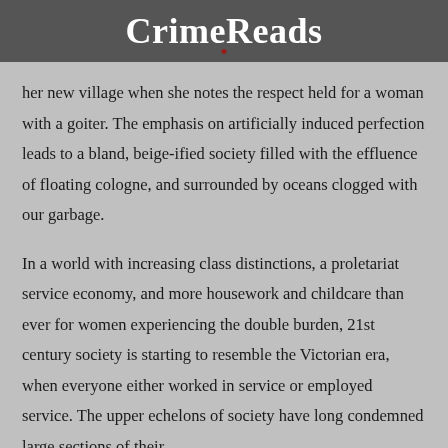CrimeReads
her new village when she notes the respect held for a woman with a goiter. The emphasis on artificially induced perfection leads to a bland, beige-ified society filled with the effluence of floating cologne, and surrounded by oceans clogged with our garbage.
In a world with increasing class distinctions, a proletariat service economy, and more housework and childcare than ever for women experiencing the double burden, 21st century society is starting to resemble the Victorian era, when everyone either worked in service or employed service. The upper echelons of society have long condemned large sections of their